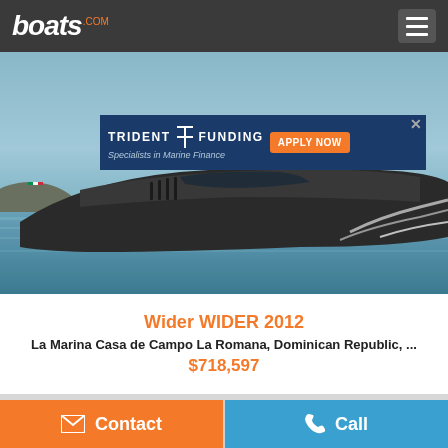boats.com
[Figure (screenshot): Mobile website screenshot of boats.com showing a Wider WIDER 2012 yacht listing with an advertisement banner for Trident Funding - Specialists in Marine Finance with Apply Now button, boat image, listing details, and Contact/Call buttons]
Wider WIDER 2012
La Marina Casa de Campo La Romana, Dominican Republic, ...
$718,597